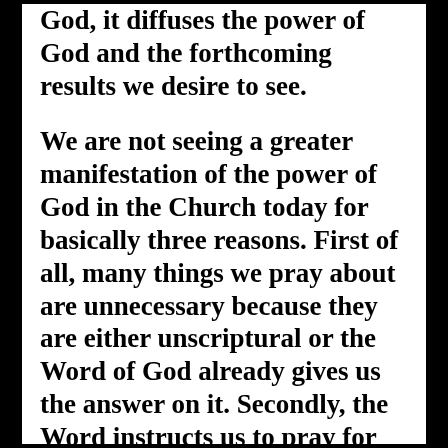God, it diffuses the power of God and the forthcoming results we desire to see.
We are not seeing a greater manifestation of the power of God in the Church today for basically three reasons. First of all, many things we pray about are unnecessary because they are either unscriptural or the Word of God already gives us the answer on it. Secondly, the Word instructs us to pray for many different things and contains much wisdom and instruction in how we should direct our praying. And thirdly, we spend too much of our time praying with our own mental